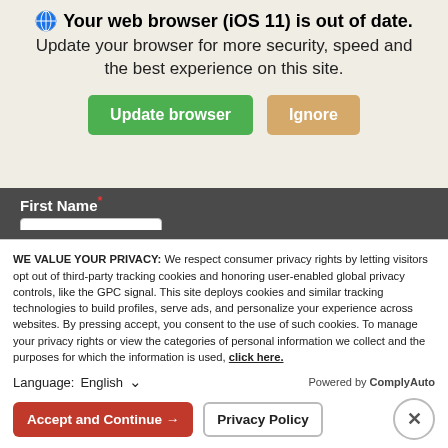[Figure (screenshot): Browser out-of-date warning banner with iOS 11 notice, 'Update browser' green button and 'Ignore' tan button]
Your web browser (iOS 11) is out of date. Update your browser for more security, speed and the best experience on this site.
First Name*
Last Name*
Email*
Message*
WE VALUE YOUR PRIVACY: We respect consumer privacy rights by letting visitors opt out of third-party tracking cookies and honoring user-enabled global privacy controls, like the GPC signal. This site deploys cookies and similar tracking technologies to build profiles, serve ads, and personalize your experience across websites. By pressing accept, you consent to the use of such cookies. To manage your privacy rights or view the categories of personal information we collect and the purposes for which the information is used, click here.
Language: English
Powered by ComplyAuto
Accept and Continue →
Privacy Policy